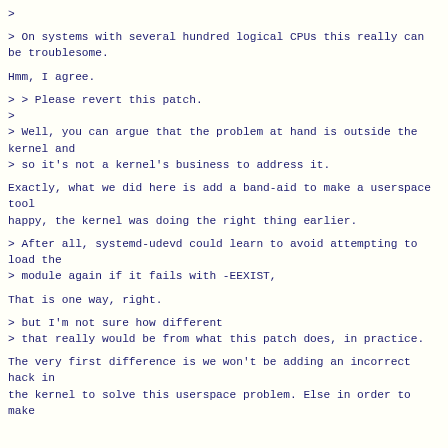>
> On systems with several hundred logical CPUs this really can be troublesome.
Hmm, I agree.
> > Please revert this patch.
>
> Well, you can argue that the problem at hand is outside the kernel and
> so it's not a kernel's business to address it.
Exactly, what we did here is add a band-aid to make a userspace tool
happy, the kernel was doing the right thing earlier.
> After all, systemd-udevd could learn to avoid attempting to load the
> module again if it fails with -EEXIST,
That is one way, right.
> but I'm not sure how different
> that really would be from what this patch does, in practice.
The very first difference is we won't be adding an incorrect hack in
the kernel to solve this userspace problem. Else in order to make